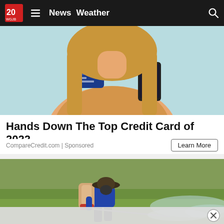News  Weather
[Figure (photo): Woman holding a credit card and a smartphone, wearing a tan top, light blue background]
Hands Down The Top Credit Card of 2022
CompareCredit.com | Sponsored
[Figure (photo): Farm worker wearing a hat and backpack sprayer, spraying pesticide on a green rice field]